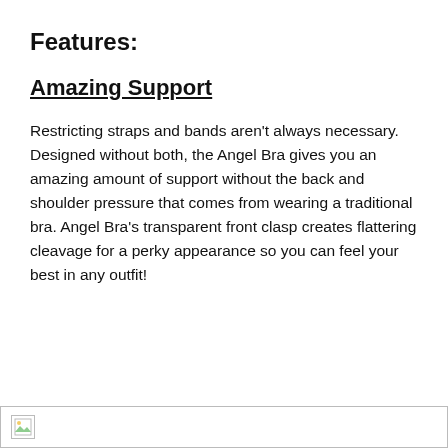Features:
Amazing Support
Restricting straps and bands aren't always necessary. Designed without both, the Angel Bra gives you an amazing amount of support without the back and shoulder pressure that comes from wearing a traditional bra. Angel Bra's transparent front clasp creates flattering cleavage for a perky appearance so you can feel your best in any outfit!
[Figure (photo): Image placeholder with broken image icon at bottom of page]